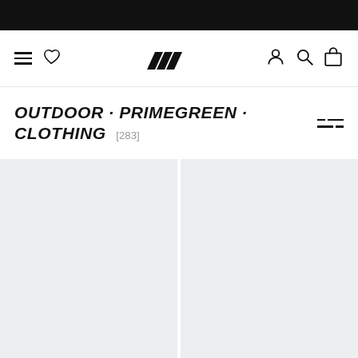[Figure (screenshot): Adidas website navigation bar with hamburger menu, heart/wishlist icon, Adidas three-stripe logo, user account icon, search icon, and shopping bag icon]
OUTDOOR · PRIMEGREEN · CLOTHING [283]
[Figure (other): Two product image placeholder tiles in a 2-column grid, shown as light grey rectangles]